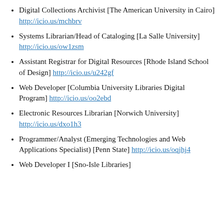Digital Collections Archivist [The American University in Cairo] http://icio.us/mchbrv
Systems Librarian/Head of Cataloging [La Salle University] http://icio.us/ow1zsm
Assistant Registrar for Digital Resources [Rhode Island School of Design] http://icio.us/u242gf
Web Developer [Columbia University Libraries Digital Program] http://icio.us/oo2ebd
Electronic Resources Librarian [Norwich University] http://icio.us/dxo1h3
Programmer/Analyst (Emerging Technologies and Web Applications Specialist) [Penn State] http://icio.us/oqjhj4
Web Developer I [Sno-Isle Libraries]